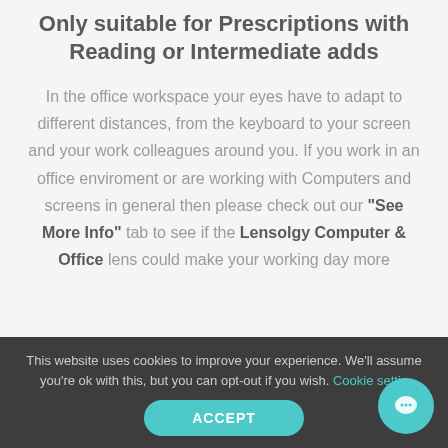Only suitable for Prescriptions with Reading or Intermediate adds
In the office workspace your eyes have to adapt to different distances, from the keyboard to your screen and your work colleagues around you. If you work in an office enviroment or are working with Computers and screens in general then please check out our “See More Info” tab to see if the Lensolgy Computer & Office lens could make your working day more
This website uses cookies to improve your experience. We'll assume you're ok with this, but you can opt-out if you wish. Cookie settings
ACCEPT